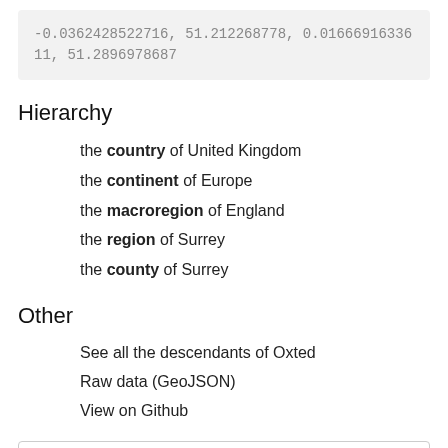-0.0362428522716, 51.212268778, 0.0166691633611, 51.2896978687
Hierarchy
the country of United Kingdom
the continent of Europe
the macroregion of England
the region of Surrey
the county of Surrey
Other
See all the descendants of Oxted
Raw data (GeoJSON)
View on Github
Log
2022-08-22T10:32:57.277Z info